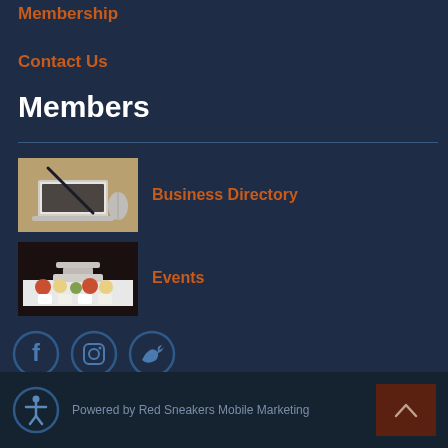Membership
Contact Us
Members
[Figure (photo): Photo of a laptop and mouse on a wooden desk]
Business Directory
[Figure (photo): Photo of a catering or event food display]
Events
[Figure (infographic): Social media icons: Facebook, Instagram, Twitter in circular outlines]
Powered by Red Sneakers Mobile Marketing